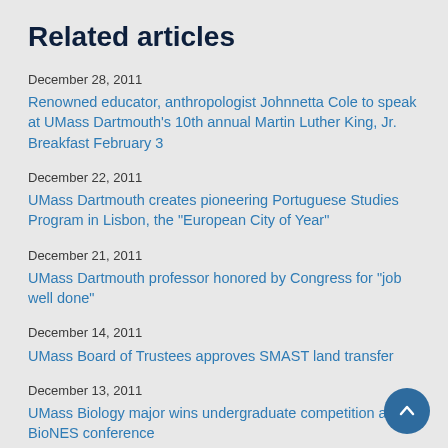Related articles
December 28, 2011
Renowned educator, anthropologist Johnnetta Cole to speak at UMass Dartmouth's 10th annual Martin Luther King, Jr. Breakfast February 3
December 22, 2011
UMass Dartmouth creates pioneering Portuguese Studies Program in Lisbon, the "European City of Year"
December 21, 2011
UMass Dartmouth professor honored by Congress for "job well done"
December 14, 2011
UMass Board of Trustees approves SMAST land transfer
December 13, 2011
UMass Biology major wins undergraduate competition at BioNES conference